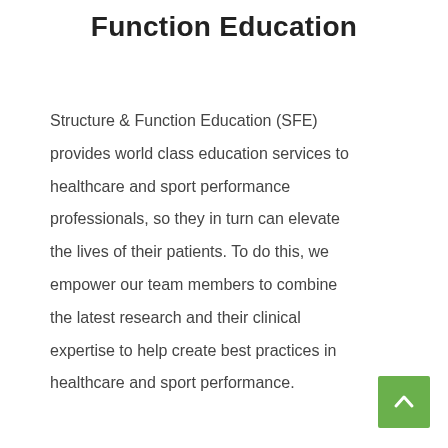Function Education
Structure & Function Education (SFE) provides world class education services to healthcare and sport performance professionals, so they in turn can elevate the lives of their patients. To do this, we empower our team members to combine the latest research and their clinical expertise to help create best practices in healthcare and sport performance.
[Figure (illustration): Green square button with white upward-pointing chevron arrow, used as a scroll-to-top navigation element]